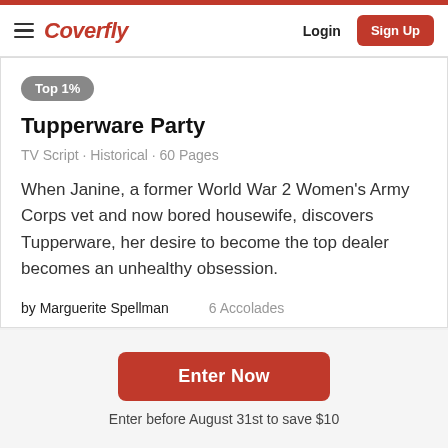Coverfly  Login  Sign Up
Top 1%
Tupperware Party
TV Script · Historical · 60 Pages
When Janine, a former World War 2 Women's Army Corps vet and now bored housewife, discovers Tupperware, her desire to become the top dealer becomes an unhealthy obsession.
by Marguerite Spellman   6 Accolades
Enter Now
Enter before August 31st to save $10